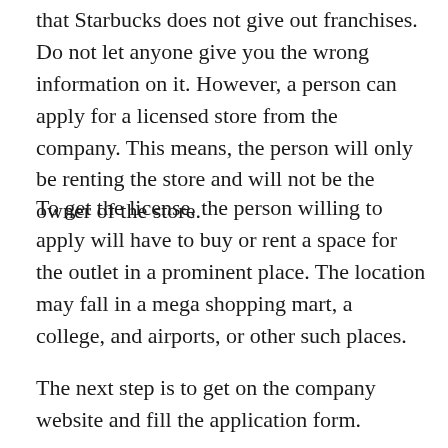that Starbucks does not give out franchises. Do not let anyone give you the wrong information on it. However, a person can apply for a licensed store from the company. This means, the person will only be renting the store and will not be the owner of the store.
To get the license, the person willing to apply will have to buy or rent a space for the outlet in a prominent place. The location may fall in a mega shopping mart, a college, and airports, or other such places.
The next step is to get on the company website and fill the application form.